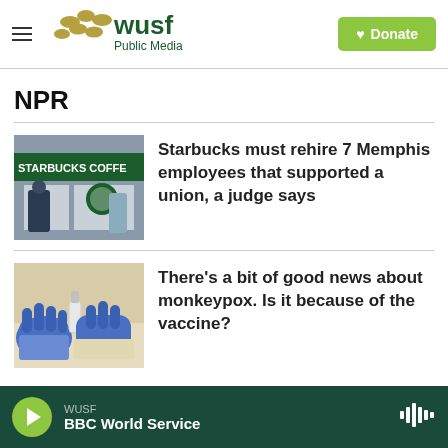WUSF Public Media — Donate
NPR
[Figure (photo): Starbucks Coffee storefront with people visible]
Starbucks must rehire 7 Memphis employees that supported a union, a judge says
[Figure (photo): Hands in blue medical gloves handling a vial, monkeypox vaccine related]
There's a bit of good news about monkeypox. Is it because of the vaccine?
WUSF — BBC World Service